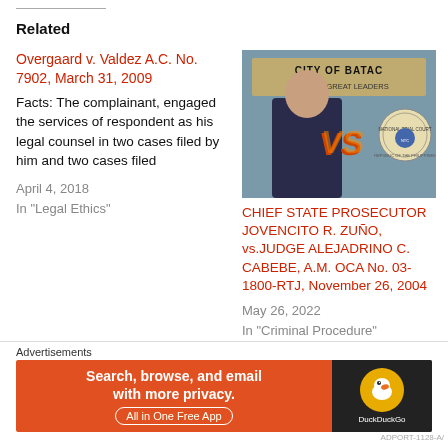Related
Overgaard v. Valdez A.C. No. 7902, March 31, 2009
Facts:  The complainant, engaged the services of respondent as his legal counsel in two cases filed by him and two cases filed
April 4, 2018
In "Legal Ethics"
[Figure (photo): Photo of a man in suit in front of a City of Batac sign, with VS graphic and National Trial Court seal]
CHIEF STATE PROSECUTOR JOVENCITO R. ZUÑO, vs.JUDGE ALEJADRINO C. CABEBE, A.M. OCA No. 03-1800-RTJ, November 26, 2004
May 26, 2022
In "Criminal Procedure"
Andrada v. Cera A.C. No. 10187, July 22, 2015
Advertisements
[Figure (screenshot): DuckDuckGo advertisement banner: Search, browse, and email with more privacy. All in One Free App.]